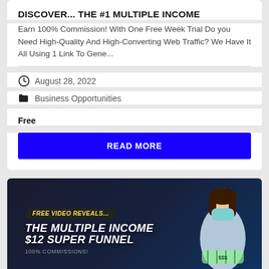DISCOVER... THE #1 MULTIPLE INCOME
Earn 100% Commission! With One Free Week Trial Do you Need High-Quality And High-Converting Web Traffic? We Have It All Using 1 Link To Gene...
August 28, 2022
Business Opportunities
Free
READ MORE
[Figure (illustration): Marketing banner image with text 'FREE VIDEO REVEALS... THE MULTIPLE INCOME $12 SUPER FUNNEL' and a woman wearing a face mask holding money]